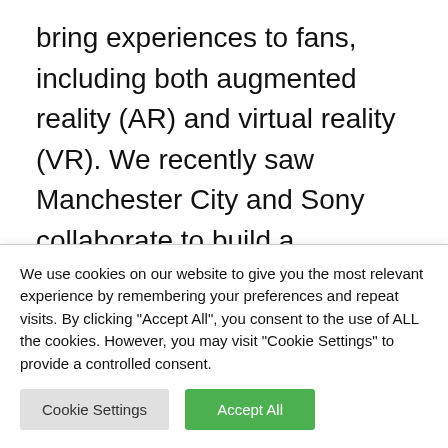bring experiences to fans, including both augmented reality (AR) and virtual reality (VR). We recently saw Manchester City and Sony collaborate to build a metaverse version of the Etihad Stadium. Insane, right? However, these clubs are global brands, appealing to the masses worldwide due to their international
We use cookies on our website to give you the most relevant experience by remembering your preferences and repeat visits. By clicking "Accept All", you consent to the use of ALL the cookies. However, you may visit "Cookie Settings" to provide a controlled consent.